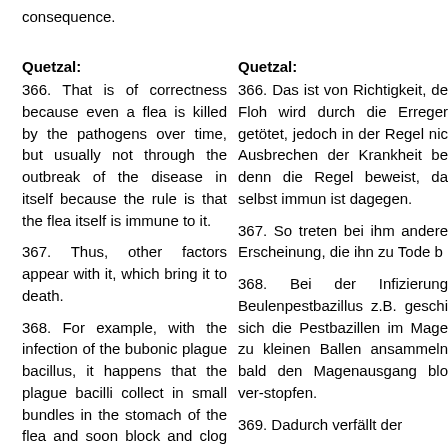consequence.
Quetzal:
366. That is of correctness because even a flea is killed by the pathogens over time, but usually not through the outbreak of the disease in itself because the rule is that the flea itself is immune to it.
367. Thus, other factors appear with it, which bring it to death.
368. For example, with the infection of the bubonic plague bacillus, it happens that the plague bacilli collect in small bundles in the stomach of the flea and soon block and clog the pylorus.
369. Thus, the flea falls into a
Quetzal:
366. Das ist von Richtigkeit, de Floh wird durch die Erreger getötet, jedoch in der Regel nic Ausbrechen der Krankheit be denn die Regel beweist, da selbst immun ist dagegen.
367. So treten bei ihm andere Erscheinung, die ihn zu Tode b
368. Bei der Infizierung Beulenpestbazillus z.B. geschi sich die Pestbazillen im Mage zu kleinen Ballen ansammeln bald den Magenausgang blo ver-stopfen.
369. Dadurch verfällt der